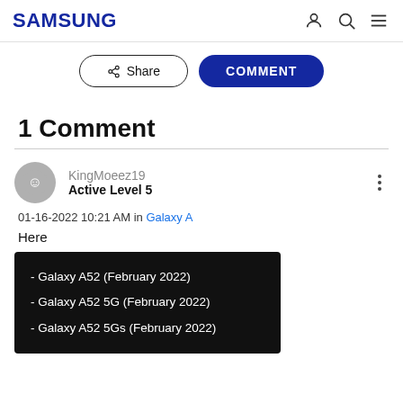SAMSUNG
Share | COMMENT
1 Comment
KingMoeez19
Active Level 5
01-16-2022 10:21 AM in Galaxy A
Here
- Galaxy A52 (February 2022)
- Galaxy A52 5G (February 2022)
- Galaxy A52 5Gs (February 2022)